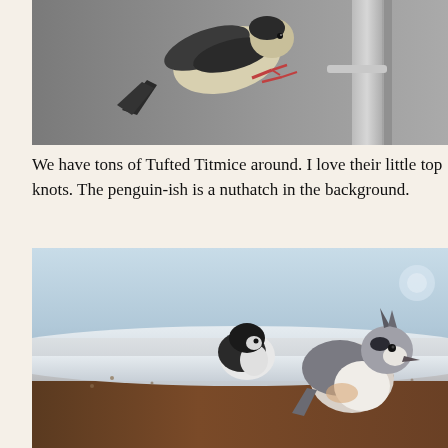[Figure (photo): A bird (Tufted Titmouse or similar small bird) perched at a bird feeder, photographed from below/side angle, showing its pale underside and dark tail. A cylindrical metal feeder tube is visible on the right. The background is gray/blurred.]
We have tons of Tufted Titmice around. I love their little top knots. The penguin-ish is a nuthatch in the background.
[Figure (photo): Two birds on a snow-covered surface. In the foreground is a Tufted Titmouse with distinctive crest, gray back, and white/pale underside. In the background is a rounder, darker bird (nuthatch) with black cap. The background is blurred brown wood.]